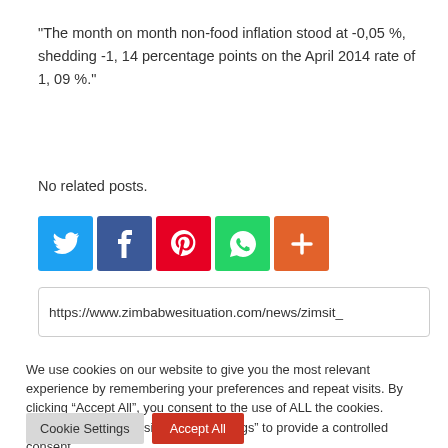"The month on month non-food inflation stood at -0,05 %, shedding -1, 14 percentage points on the April 2014 rate of 1, 09 %."
No related posts.
[Figure (other): Social media sharing icons: Twitter (blue), Facebook (dark blue), Pinterest (red), WhatsApp (green), More/Plus (orange)]
https://www.zimbabwesituation.com/news/zimsit_
We use cookies on our website to give you the most relevant experience by remembering your preferences and repeat visits. By clicking “Accept All”, you consent to the use of ALL the cookies. However, you may visit "Cookie Settings" to provide a controlled consent.
Cookie Settings    Accept All